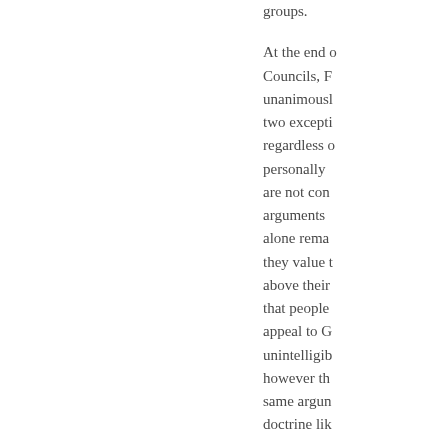groups. At the end of Councils, F unanimously two excepti regardless o personally are not con arguments alone rema they value above their that people appeal to G unintelligib however th same argun doctrine lik